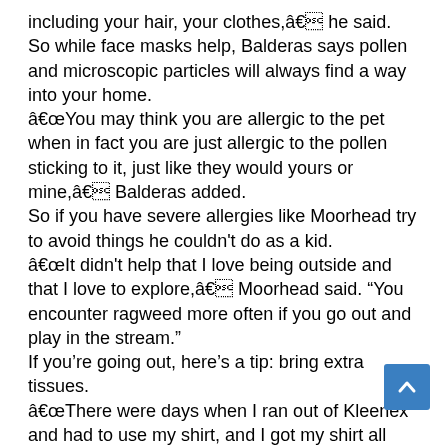including your hair, your clothes,â€ he said.
So while face masks help, Balderas says pollen and microscopic particles will always find a way into your home.
â€œYou may think you are allergic to the pet when in fact you are just allergic to the pollen sticking to it, just like they would yours or mine,â€ Balderas added.
So if you have severe allergies like Moorhead try to avoid things he couldn't do as a kid.
â€œIt didn't help that I love being outside and that I love to explore,â€ Moorhead said. "You encounter ragweed more often if you go out and play in the stream."
If you're going out, here's a tip: bring extra tissues.
â€œThere were days when I ran out of Kleenex and had to use my shirt, and I got my shirt all raw with snot,â€ Moorhead added.
Some advice from Dr Balderas:
Wash your hair and clothes on entering.